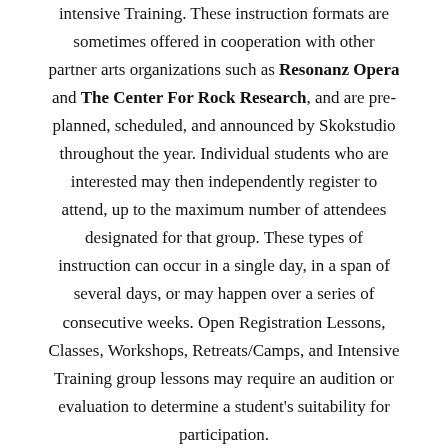intensive Training. These instruction formats are sometimes offered in cooperation with other partner arts organizations such as Resonanz Opera and The Center For Rock Research, and are pre-planned, scheduled, and announced by Skokstudio throughout the year. Individual students who are interested may then independently register to attend, up to the maximum number of attendees designated for that group. These types of instruction can occur in a single day, in a span of several days, or may happen over a series of consecutive weeks. Open Registration Lessons, Classes, Workshops, Retreats/Camps, and Intensive Training group lessons may require an audition or evaluation to determine a student's suitability for participation.